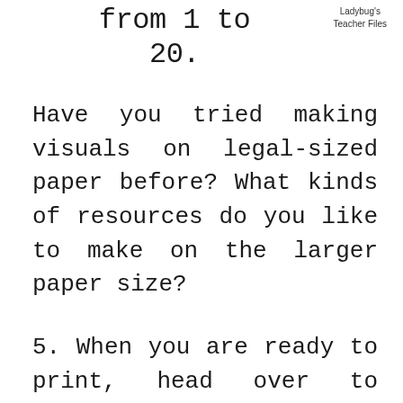from 1 to 20.
Ladybug's Teacher Files
Have you tried making visuals on legal-sized paper before? What kinds of resources do you like to make on the larger paper size?
5. When you are ready to print, head over to Paper Size and choose Legal from the